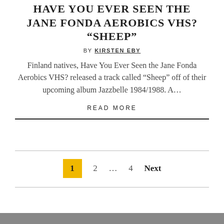HAVE YOU EVER SEEN THE JANE FONDA AEROBICS VHS? “SHEEP”
BY KIRSTEN EBY
Finland natives, Have You Ever Seen the Jane Fonda Aerobics VHS? released a track called “Sheep” off of their upcoming album Jazzbelle 1984/1988. A…
READ MORE
1  2  …  4  Next